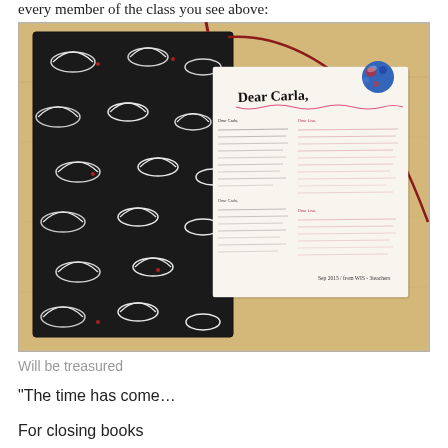every member of the class you see above:
[Figure (photo): Photo of a handmade book with black and white bird-patterned fabric cover on a wooden desk, with a letter or card addressed to 'Dear Carla,' and a red ribbon bookmark, and a small blue-red charm ball.]
Will be treasured
“The time has come…
For closing books